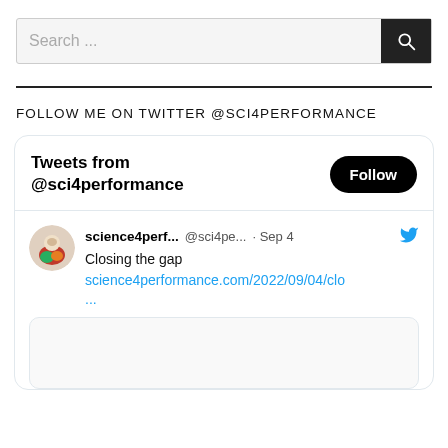Search ...
FOLLOW ME ON TWITTER @SCI4PERFORMANCE
[Figure (screenshot): Twitter widget showing 'Tweets from @sci4performance' with a Follow button, and a tweet from science4perf... @sci4pe... Sep 4 saying 'Closing the gap' with link science4performance.com/2022/09/04/clo...]